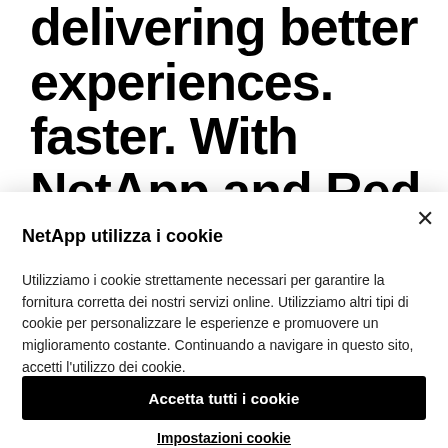delivering better experiences. faster. With NetApp and Red Hat.
×
NetApp utilizza i cookie
Utilizziamo i cookie strettamente necessari per garantire la fornitura corretta dei nostri servizi online. Utilizziamo altri tipi di cookie per personalizzare le esperienze e promuovere un miglioramento costante. Continuando a navigare in questo sito, accetti l'utilizzo dei cookie.
Accetta tutti i cookie
Impostazioni cookie